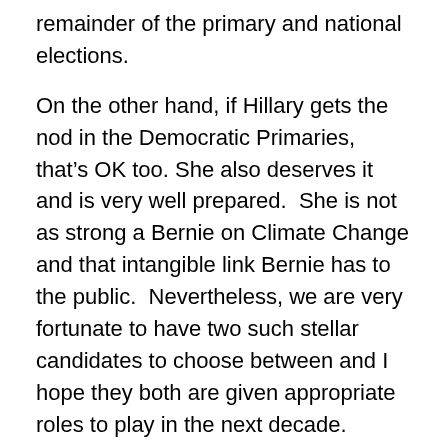remainder of the primary and national elections.
On the other hand, if Hillary gets the nod in the Democratic Primaries, that’s OK too. She also deserves it and is very well prepared.  She is not as strong a Bernie on Climate Change and that intangible link Bernie has to the public.  Nevertheless, we are very fortunate to have two such stellar candidates to choose between and I hope they both are given appropriate roles to play in the next decade.
Meanwhile, I see no improvements being made on the Republican side. All of their leaders are still so scientifically brain-dead as to not even know who their own experts are on the subject of climate change.  I suspect that Abraham Lincoln, the father of the Republican Party and also the founder of our National Academy of